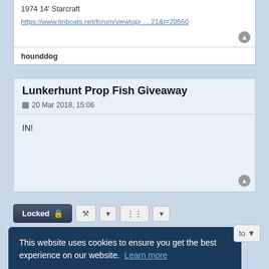1974 14' Starcraft
https://www.tinboats.net/forum/viewtopi … 21&t=20550
hounddog
Lunkerhunt Prop Fish Giveaway
20 Mar 2018, 15:06
IN!
This website uses cookies to ensure you get the best experience on our website.  Learn more
Got it!